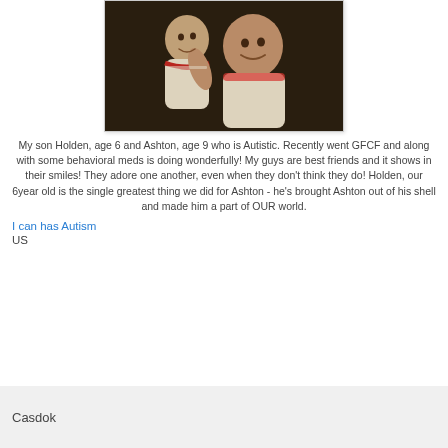[Figure (photo): Two young boys smiling together, one with arm around the other. Black and white toned photograph.]
My son Holden, age 6 and Ashton, age 9 who is Autistic. Recently went GFCF and along with some behavioral meds is doing wonderfully! My guys are best friends and it shows in their smiles! They adore one another, even when they don't think they do! Holden, our 6year old is the single greatest thing we did for Ashton - he's brought Ashton out of his shell and made him a part of OUR world.
I can has Autism
US
Casdok